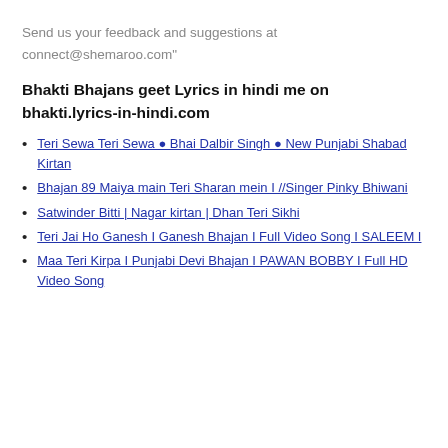Send us your feedback and suggestions at connect@shemaroo.com"
Bhakti Bhajans geet Lyrics in hindi me on bhakti.lyrics-in-hindi.com
Teri Sewa Teri Sewa ● Bhai Dalbir Singh ● New Punjabi Shabad Kirtan
Bhajan 89 Maiya main Teri Sharan mein I //Singer Pinky Bhiwani
Satwinder Bitti | Nagar kirtan | Dhan Teri Sikhi
Teri Jai Ho Ganesh I Ganesh Bhajan I Full Video Song I SALEEM I
Maa Teri Kirpa I Punjabi Devi Bhajan I PAWAN BOBBY I Full HD Video Song